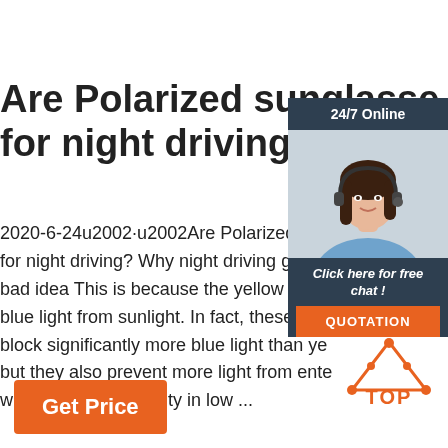Are Polarized sunglasses good for night driving ...
2020-6-24u2002·u2002Are Polarized sunglasses good for night driving? Why night driving glasses are a bad idea This is because the yellow tint blocks blue light from sunlight. In fact, these dark lenses block significantly more blue light than yellow, but they also prevent more light from entering your eyes, which reduces visibility in low ...
[Figure (photo): Customer service woman with headset, 24/7 Online chat widget with 'Click here for free chat!' and QUOTATION button]
[Figure (logo): Orange TOP logo with triangle and dots]
Get Price